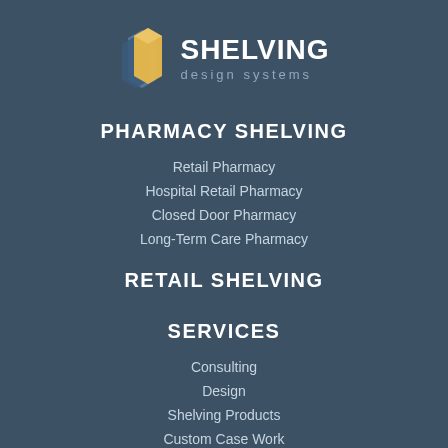[Figure (logo): Shelving Design Systems logo with stylized shelving icon and company name]
PHARMACY SHELVING
Retail Pharmacy
Hospital Retail Pharmacy
Closed Door Pharmacy
Long-Term Care Pharmacy
RETAIL SHELVING
SERVICES
Consulting
Design
Shelving Products
Custom Case Work